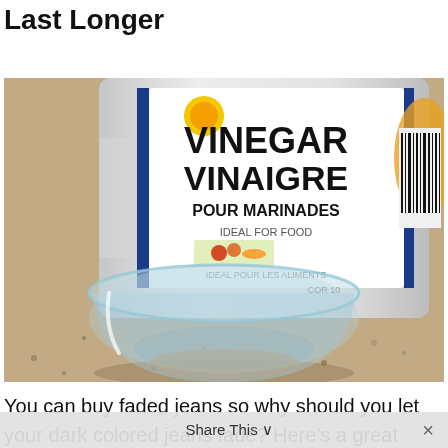Last Longer
[Figure (photo): A large white jug of Vinegar (Vinaigre Pour Marinades) and a small clear glass bowl sitting on a speckled countertop surface.]
You can buy faded jeans so why should you let your dark colored jeans fade? Here's a great clothing tip that will keep them in just the right
Share This ∨  ×